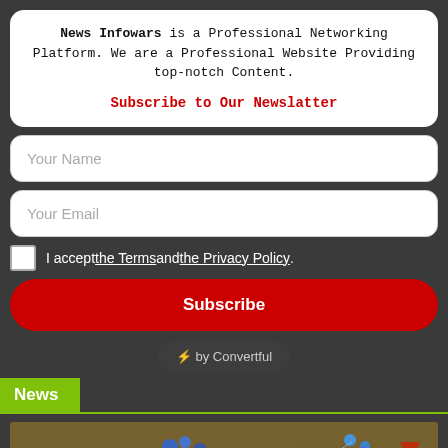News Infowars is a Professional Networking Platform. We are a Professional Website Providing top-notch Content.
Subscribe to Our Newslatter
Your Name
Your Email
I accept the Terms and the Privacy Policy.
Subscribe
⚡ by Convertful
News
[Figure (screenshot): RTS video game screenshot showing aerial battle scene with units firing laser beams and explosions on a desert terrain map]